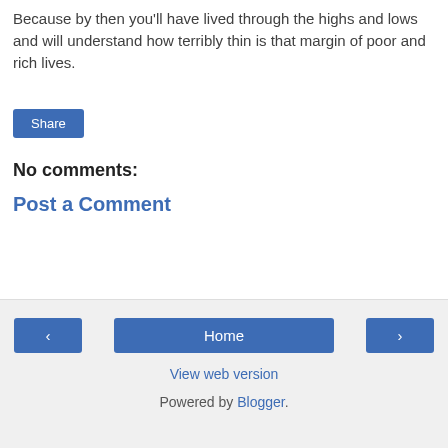Because by then you'll have lived through the highs and lows and will understand how terribly thin is that margin of poor and rich lives.
[Figure (other): Share button — a blue rectangular button with white text 'Share']
No comments:
Post a Comment
< | Home | >  View web version  Powered by Blogger.